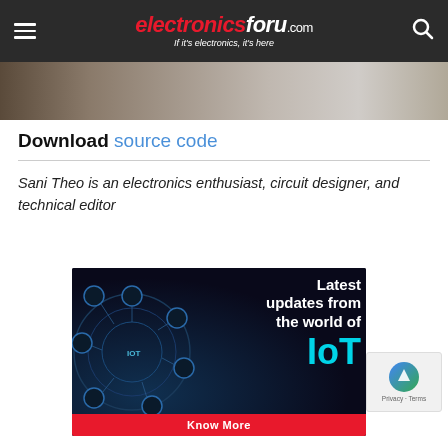electronicsforu.com — If it's electronics, it's here
[Figure (photo): Partial photo of electronics/circuit board scene, cropped at top]
Download source code
Sani Theo is an electronics enthusiast, circuit designer, and technical editor
[Figure (infographic): Advertisement banner: Latest updates from the world of IoT, with IoT icons and Know More button]